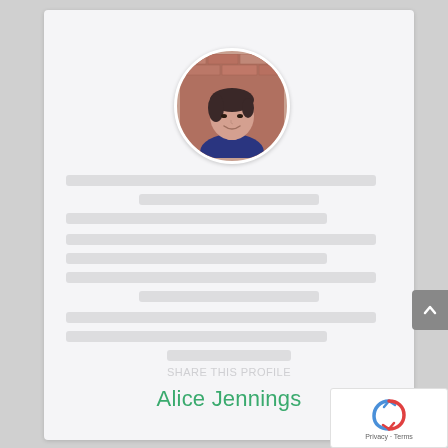[Figure (photo): Circular profile photo of a woman with short dark hair, smiling, in front of a brick wall background]
[blurred/redacted text content — multiple lines of obscured body text]
[blurred subtitle text]
Alice Jennings